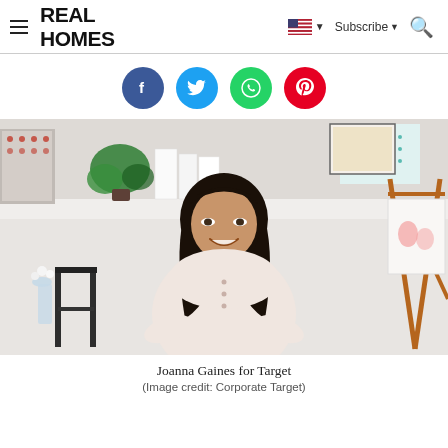REAL HOMES | Subscribe | [flag] [search]
[Figure (other): Social sharing icons row: Facebook (blue), Twitter (light blue), WhatsApp (green), Pinterest (red)]
[Figure (photo): Joanna Gaines posing in a bright studio-style space with a wooden easel holding a framed artwork, a black stool, and shelving with plants in the background. She is wearing a light pink blouse and smiling at the camera.]
Joanna Gaines for Target
(Image credit: Corporate Target)